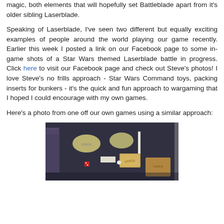magic, both elements that will hopefully set Battleblade apart from it's older sibling Laserblade.
Speaking of Laserblade, I've seen two different but equally exciting examples of people around the world playing our game recently. Earlier this week I posted a link on our Facebook page to some in-game shots of a Star Wars themed Laserblade battle in progress. Click here to visit our Facebook page and check out Steve's photos! I love Steve's no frills approach - Star Wars Command toys, packing inserts for bunkers - it's the quick and fun approach to wargaming that I hoped I could encourage with my own games.
Here's a photo from one off our own games using a similar approach:
[Figure (photo): A wargaming table with a dark blue/black surface, featuring cardboard and wooden pieces used as terrain and unit markers, with dice visible on the surface.]